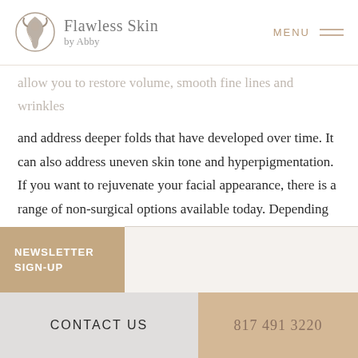Flawless Skin by Abby | MENU
allow you to restore volume, smooth fine lines and wrinkles and address deeper folds that have developed over time. It can also address uneven skin tone and hyperpigmentation. If you want to rejuvenate your facial appearance, there is a range of non-surgical options available today. Depending on what you envision, patients can select one treatment or several and have experienced excellent results with little to no downtime.
NEWSLETTER SIGN-UP
CONTACT US | 817 491 3220